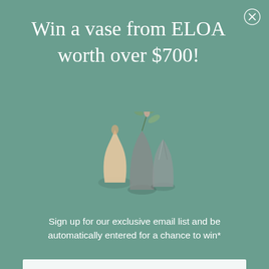Win a vase from ELOA worth over $700!
[Figure (illustration): Three decorative vases of varying sizes and colors (cream/beige, dark grey, and grey with a plant branch) arranged together on a muted teal background]
Sign up for our exclusive email list and be automatically entered for a chance to win*
Email
Enter the Giveaway
*Please read our terms and conditions here